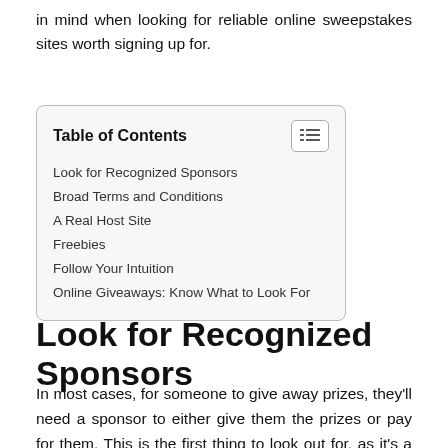in mind when looking for reliable online sweepstakes sites worth signing up for.
| Table of Contents |
| --- |
| Look for Recognized Sponsors |
| Broad Terms and Conditions |
| A Real Host Site |
| Freebies |
| Follow Your Intuition |
| Online Giveaways: Know What to Look For |
Look for Recognized Sponsors
In most cases, for someone to give away prizes, they'll need a sponsor to either give them the prizes or pay for them. This is the first thing to look out for, as it's a sign of their trustworthiness.